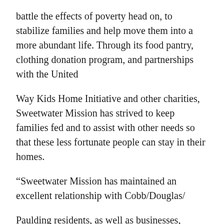battle the effects of poverty head on, to stabilize families and help move them into a more abundant life. Through its food pantry, clothing donation program, and partnerships with the United
Way Kids Home Initiative and other charities, Sweetwater Mission has strived to keep families fed and to assist with other needs so that these less fortunate people can stay in their homes.
“Sweetwater Mission has maintained an excellent relationship with Cobb/Douglas/
Paulding residents, as well as businesses, churches, and Cobb County organizations,” says Executive Director Pat Soden.
“Through their continued generosity and support over the years, we have been blessed to be able to serve the number of families we have seen grow”